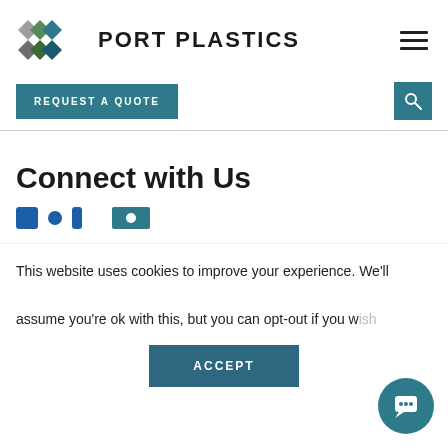[Figure (logo): Port Plastics logo with diamond shapes in gray, green, and teal, alongside the text PORT PLASTICS]
REQUEST A QUOTE
Connect with Us
This website uses cookies to improve your experience. We'll assume you're ok with this, but you can opt-out if you wish.
ACCEPT